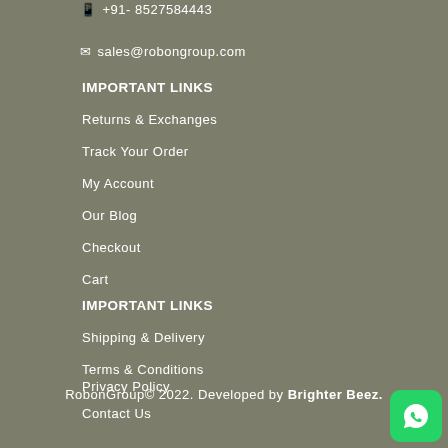📱 +91- 8527584443
✉ sales@robongroup.com
IMPORTANT LINKS
Returns & Exchanges
Track Your Order
My Account
Our Blog
Checkout
Cart
IMPORTANT LINKS
Shipping & Delivery
Terms & Conditions
Privacy Policy
Contact Us
Career
Sitemap
RobonGroup© 2022. Developed by Brighter Beez.